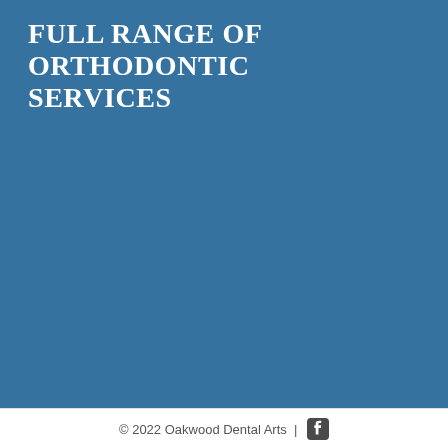FULL RANGE OF ORTHODONTIC SERVICES
© 2022 Oakwood Dental Arts |